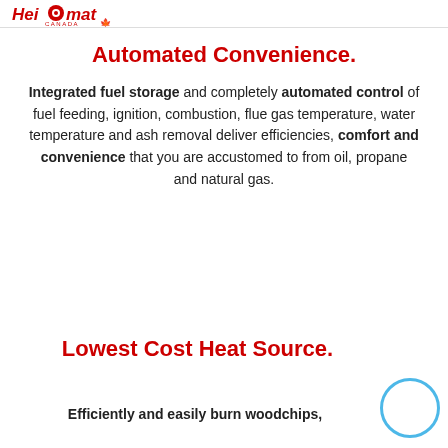Heizomat Canada
Automated Convenience.
Integrated fuel storage and completely automated control of fuel feeding, ignition, combustion, flue gas temperature, water temperature and ash removal deliver efficiencies, comfort and convenience that you are accustomed to from oil, propane and natural gas.
Lowest Cost Heat Source.
Efficiently and easily burn woodchips,